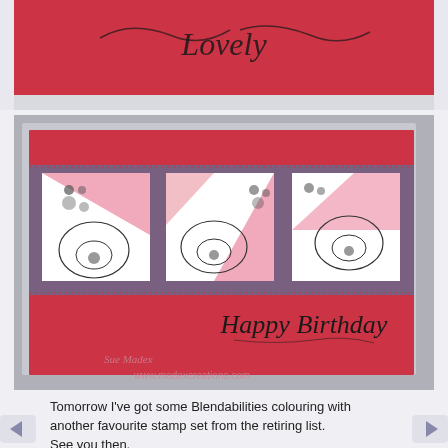[Figure (photo): Top portion of a red greeting card with decorative black script text on red background, partially cropped]
[Figure (photo): A handmade Happy Birthday card with red base, purple/mauve middle panel containing three white squares with stamped poppy flowers in pink and black ink. 'Happy Birthday' in decorative black script on the lower red section. Watermark reads 'Sue Madex' and 'www.madexcreations.com']
Tomorrow I've got some Blendabilities colouring with another favourite stamp set from the retiring list.
See you then.